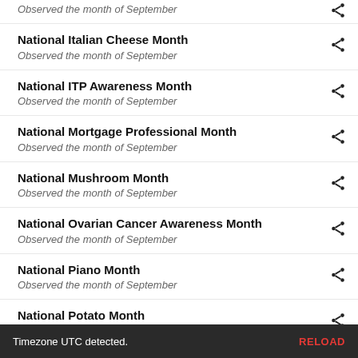Observed the month of September
National Italian Cheese Month
Observed the month of September
National ITP Awareness Month
Observed the month of September
National Mortgage Professional Month
Observed the month of September
National Mushroom Month
Observed the month of September
National Ovarian Cancer Awareness Month
Observed the month of September
National Piano Month
Observed the month of September
National Potato Month
Observed the month of September
Timezone UTC detected.   RELOAD